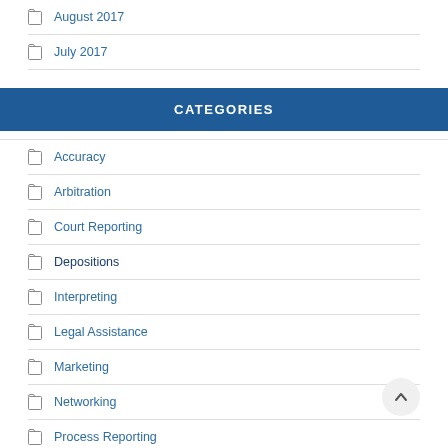August 2017
July 2017
CATEGORIES
Accuracy
Arbitration
Court Reporting
Depositions
Interpreting
Legal Assistance
Marketing
Networking
Process Reporting
Process Server
Productivity